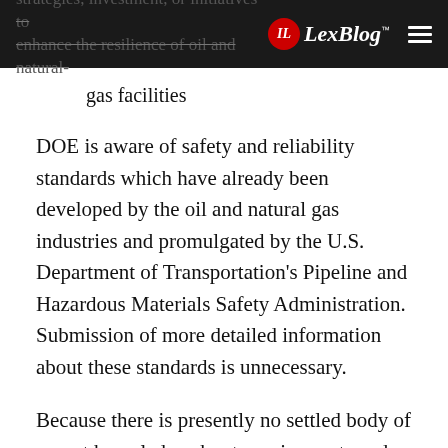strategies, investment, or initiatives to enhance the resilience of oil and natural gas facilities | LexBlog
gas facilities
DOE is aware of safety and reliability standards which have already been developed by the oil and natural gas industries and promulgated by the U.S. Department of Transportation's Pipeline and Hazardous Materials Safety Administration. Submission of more detailed information about these standards is unnecessary.
Because there is presently no settled body of expert knowledge about requirements and